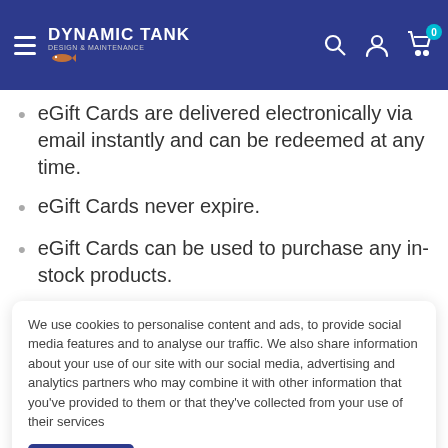Dynamic Tank — header navigation bar
eGift Cards are delivered electronically via email instantly and can be redeemed at any time.
eGift Cards never expire.
eGift Cards can be used to purchase any in-stock products.
We use cookies to personalise content and ads, to provide social media features and to analyse our traffic. We also share information about your use of our site with our social media, advertising and analytics partners who may combine it with other information that you've provided to them or that they've collected from your use of their services
Accept
the recipient by email instantly once the purchase of the